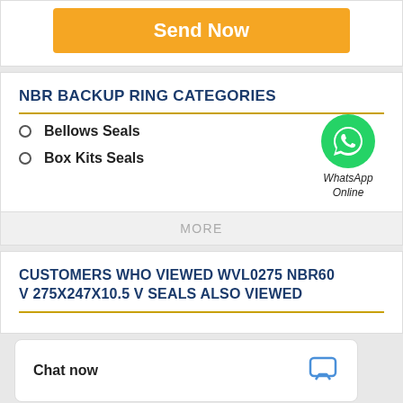[Figure (other): Orange 'Send Now' button]
NBR BACKUP RING CATEGORIES
Bellows Seals
Box Kits Seals
[Figure (logo): WhatsApp Online green circle icon with phone handset, labelled WhatsApp Online]
MORE
CUSTOMERS WHO VIEWED WVL0275 NBR60 V 275X247X10.5 V SEALS ALSO VIEWED
Chat now